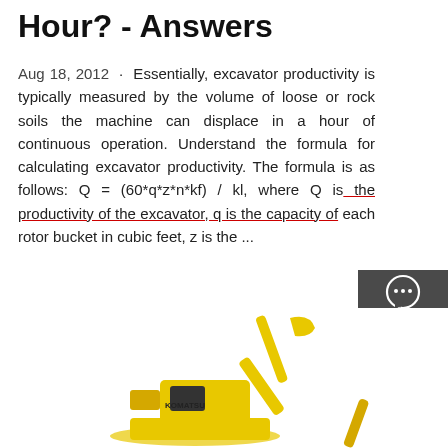Hour? - Answers
Aug 18, 2012 · Essentially, excavator productivity is typically measured by the volume of loose or rock soils the machine can displace in a hour of continuous operation. Understand the formula for calculating excavator productivity. The formula is as follows: Q = (60*q*z*n*kf) / kl, where Q is the productivity of the excavator, q is the capacity of each rotor bucket in cubic feet, z is the ...
[Figure (screenshot): Dark sidebar panel with Chat, Email, and Contact icons]
[Figure (photo): Yellow Komatsu excavator on white background]